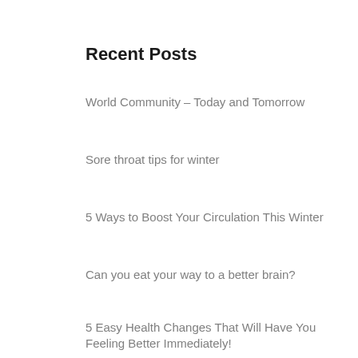Recent Posts
World Community – Today and Tomorrow
Sore throat tips for winter
5 Ways to Boost Your Circulation This Winter
Can you eat your way to a better brain?
5 Easy Health Changes That Will Have You Feeling Better Immediately!
Recent Comments
Archives
February 2020
June 2019
May 2019
April 2019